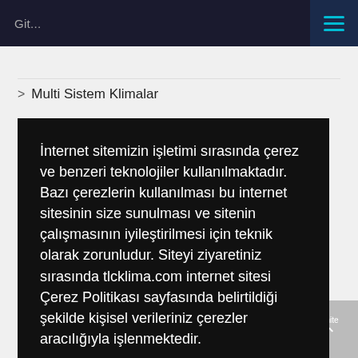Git...
> Multi Sistem Klimalar
İnternet sitemizin işletimi sırasında çerez ve benzeri teknolojiler kullanılmaktadır. Bazı çerezlerin kullanılması bu internet sitesinin size sunulması ve sitenin çalışmasının iyileştirilmesi için teknik olarak zorunludur. Siteyi ziyaretiniz sırasında tlcklima.com internet sitesi Çerez Politikası sayfasında belirtildiği şekilde kişisel verileriniz çerezler aracılığıyla işlenmektedir.
Çerez Ayarları
Hepsini Kabul Et
> Multi Sistem Tek Yon Kaset Tipi İç Ünite